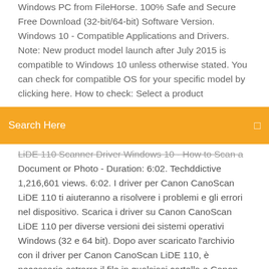Windows PC from FileHorse. 100% Safe and Secure Free Download (32-bit/64-bit) Software Version. Windows 10 - Compatible Applications and Drivers. Note: New product model launch after July 2015 is compatible to Windows 10 unless otherwise stated. You can check for compatible OS for your specific model by clicking here. How to check: Select a product
Search Here
LiDE 110 Scanner Driver Windows 10 - How to Scan a Document or Photo - Duration: 6:02. Techddictive 1,216,601 views. 6:02. I driver per Canon CanoScan LiDE 110 ti aiuteranno a risolvere i problemi e gli errori nel dispositivo. Scarica i driver su Canon CanoScan LiDE 110 per diverse versioni dei sistemi operativi Windows (32 e 64 bit). Dopo aver scaricato l'archivio con il driver per Canon CanoScan LiDE 110, è necessario estrarre il file in qualsiasi cartella e Canon USA's Carry-In/Mail-In Service provides repair or exchange, at Canon USA's option, through Canon USA's Authorized Service Facility (ASF) network.